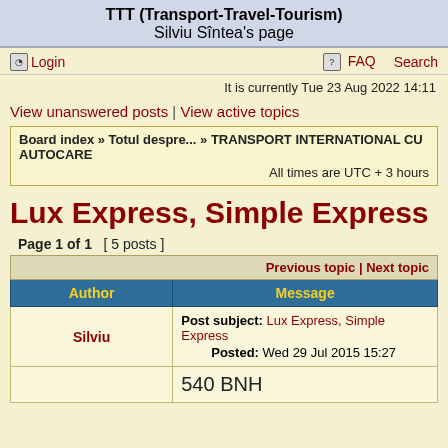TTT (Transport-Travel-Tourism)
Silviu Sîntea's page
Login | FAQ | Search
It is currently Tue 23 Aug 2022 14:11
View unanswered posts | View active topics
Board index » Totul despre... » TRANSPORT INTERNATIONAL CU AUTOCARE
All times are UTC + 3 hours
Lux Express, Simple Express
Page 1 of 1  [ 5 posts ]
| Author | Message |
| --- | --- |
| Silviu | Post subject: Lux Express, Simple Express
Posted: Wed 29 Jul 2015 15:27 |
|  | 540 BNH |